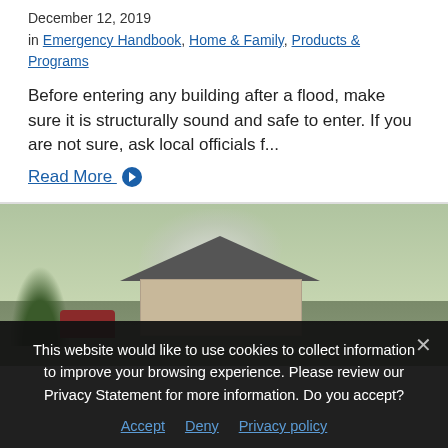December 12, 2019
in Emergency Handbook, Home & Family, Products & Programs
Before entering any building after a flood, make sure it is structurally sound and safe to enter. If you are not sure, ask local officials f...
Read More
[Figure (photo): A house with smoke or steam rising from the yard, with a red vehicle visible on the left side and trees in the background.]
This website would like to use cookies to collect information to improve your browsing experience. Please review our Privacy Statement for more information. Do you accept?
Accept  Deny  Privacy policy